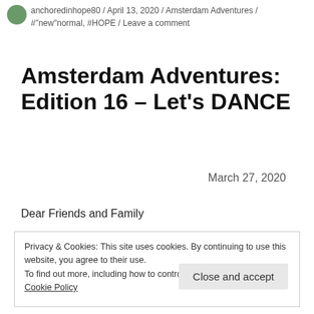anchoredinhope80 / April 13, 2020 / Amsterdam Adventures / #"new"normal, #HOPE / Leave a comment
Amsterdam Adventures: Edition 16 – Let's DANCE
March 27, 2020
Dear Friends and Family
Privacy & Cookies: This site uses cookies. By continuing to use this website, you agree to their use.
To find out more, including how to control cookies, see here:
Cookie Policy
Close and accept
11:00 A.M. in Amsterdam. I am going to